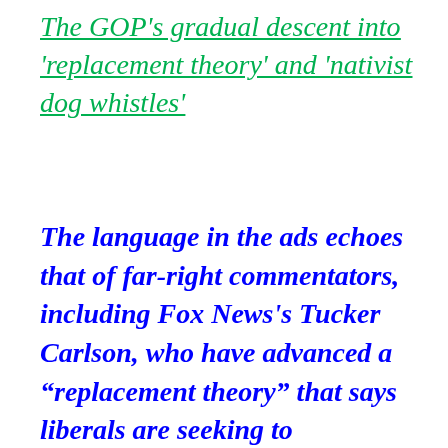The GOP's gradual descent into 'replacement theory' and 'nativist dog whistles'
The language in the ads echoes that of far-right commentators, including Fox News's Tucker Carlson, who have advanced a “replacement theory” that says liberals are seeking to